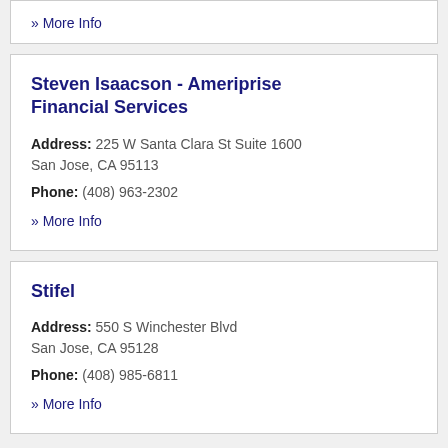» More Info
Steven Isaacson - Ameriprise Financial Services
Address: 225 W Santa Clara St Suite 1600 San Jose, CA 95113
Phone: (408) 963-2302
» More Info
Stifel
Address: 550 S Winchester Blvd San Jose, CA 95128
Phone: (408) 985-6811
» More Info